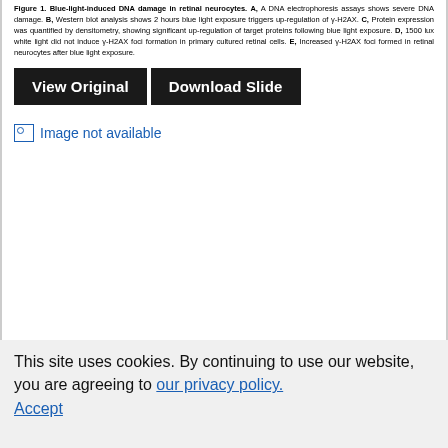Figure 1. Blue-light-induced DNA damage in retinal neurocytes. A, A DNA electrophoresis assays shows severe DNA damage. B, Western blot analysis shows 2 hours blue light exposure triggers up-regulation of γ-H2AX. C, Protein expression was quantified by densitometry, showing significant up-regulation of target proteins following blue light exposure. D, 1500 lux white light did not induce γ-H2AX foci formation in primary cultured retinal cells. E, Increased γ-H2AX foci formed in retinal neurocytes after blue light exposure.
[Figure (other): Two buttons: 'View Original' and 'Download Slide' on dark background]
[Figure (other): Broken image placeholder labeled 'Image not available']
This site uses cookies. By continuing to use our website, you are agreeing to our privacy policy. Accept